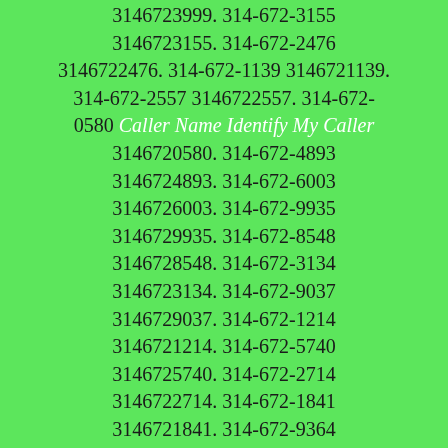3146723999. 314-672-3155 3146723155. 314-672-2476 3146722476. 314-672-1139 3146721139. 314-672-2557 3146722557. 314-672-0580 Caller Name Identify My Caller 3146720580. 314-672-4893 3146724893. 314-672-6003 3146726003. 314-672-9935 3146729935. 314-672-8548 3146728548. 314-672-3134 3146723134. 314-672-9037 3146729037. 314-672-1214 3146721214. 314-672-5740 3146725740. 314-672-2714 3146722714. 314-672-1841 3146721841. 314-672-9364 3146729364. 314-672-6304 3146726304. 314-672-6762 3146726762. 314-672-7891 3146727891. 314-672-7458 3146727458. 314-672-5896 3146725896. 314-672-2213 3146722213. 314-672-7922 3146727922. 314-672-0420 Caller Name Identify My Caller 3146720420. 314-